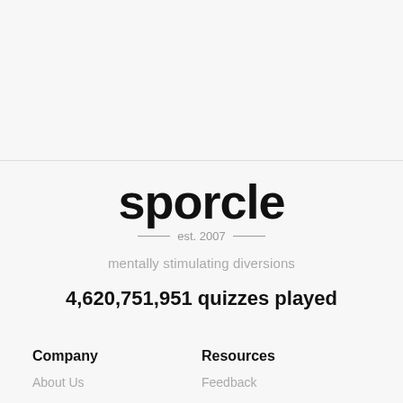[Figure (logo): Sporcle logo with 'sporcle' in large bold text, 'est. 2007' with decorative dashes, and tagline 'mentally stimulating diversions']
4,620,751,951 quizzes played
Company
Resources
About Us
Feedback